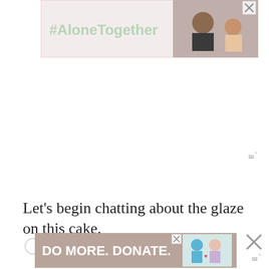[Figure (screenshot): #AloneTogether advertisement banner with photo of man and child waving at laptop screen, with close X button]
ш°
Let's begin chatting about the glaze on this cake.
[Figure (screenshot): DO MORE. DONATE. advertisement banner with illustration of two people, close buttons, and wordmark]